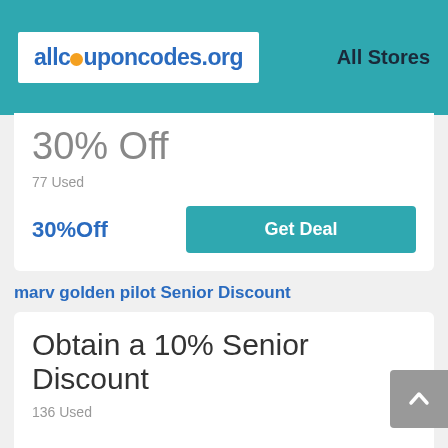[Figure (logo): allcouponcodes.org logo with orange dot replacing the 'o' in 'couponcodes']
All Stores
30% Off
77 Used
30%Off
Get Deal
marv golden pilot Senior Discount
Obtain a 10% Senior Discount
136 Used
10%Off
Get Deal